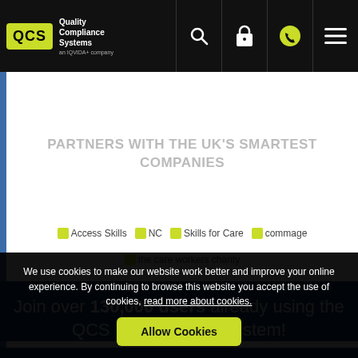QCS Quality Compliance Systems - navigation bar with search, lock, phone, and menu icons
PARTNERS WITH THE UK'S SMARTEST COMPANIES
[Figure (logo): Partner logos: Access Skills, NC, Skills for Care, commage, the care workers charity]
Join over 130,000 users already using the QCS Management System!
We use cookies to make our website work better and improve your online experience. By continuing to browse this website you accept the use of cookies, read more about cookies.